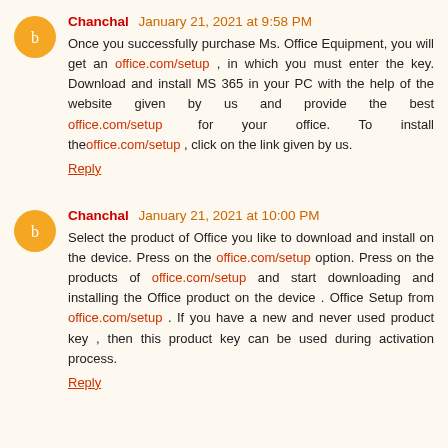Chanchal January 21, 2021 at 9:58 PM
Once you successfully purchase Ms. Office Equipment, you will get an office.com/setup , in which you must enter the key. Download and install MS 365 in your PC with the help of the website given by us and provide the best office.com/setup for your office. To install theoffice.com/setup , click on the link given by us.
Reply
Chanchal January 21, 2021 at 10:00 PM
Select the product of Office you like to download and install on the device. Press on the office.com/setup option. Press on the products of office.com/setup and start downloading and installing the Office product on the device . Office Setup from office.com/setup . If you have a new and never used product key , then this product key can be used during activation process.
Reply